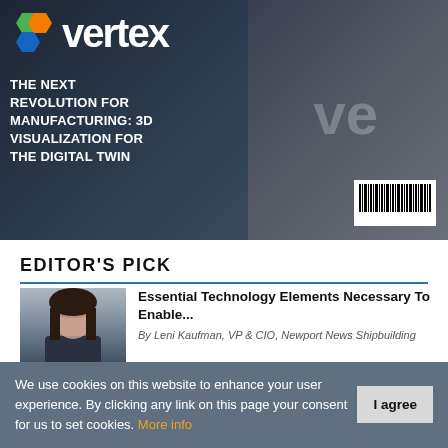[Figure (photo): Vertex magazine cover showing a person in dark shirt with the Vertex logo and text 'THE NEXT REVOLUTION FOR MANUFACTURING: 3D VISUALIZATION FOR THE DIGITAL TWIN' with a hexagonal colorful logo and barcode]
EDITOR'S PICK
[Figure (photo): Headshot of a woman with dark hair against a dark background]
Essential Technology Elements Necessary To Enable...
By Leni Kaufman, VP & CIO, Newport News Shipbuilding
[Figure (photo): Headshot of a man in a suit against a dark background]
Comparative Data Among Physician Peers
By George Evans, CIO, Singing River Health System
We use cookies on this website to enhance your user experience. By clicking any link on this page y our consent for us to set cookies. More info